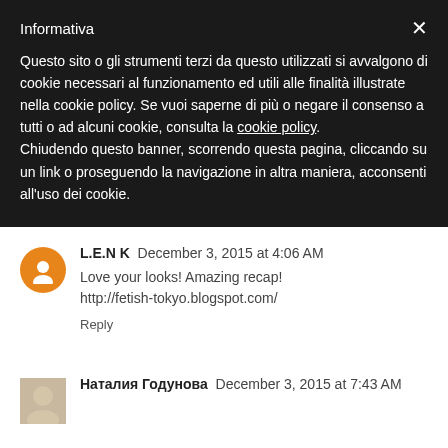Informativa
Questo sito o gli strumenti terzi da questo utilizzati si avvalgono di cookie necessari al funzionamento ed utili alle finalità illustrate nella cookie policy. Se vuoi saperne di più o negare il consenso a tutti o ad alcuni cookie, consulta la cookie policy.
Chiudendo questo banner, scorrendo questa pagina, cliccando su un link o proseguendo la navigazione in altra maniera, acconsenti all'uso dei cookie.
L.E.N K  December 3, 2015 at 4:06 AM
Love your looks! Amazing recap!
http://fetish-tokyo.blogspot.com/
Reply
Наталия Годунова  December 3, 2015 at 7:43 AM